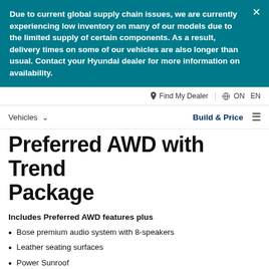Due to current global supply chain issues, we are currently experiencing low inventory on many of our models due to the limited supply of certain components. As a result, delivery times on some of our vehicles are also longer than usual. Contact your Hyundai dealer for more information on availability.
Find My Dealer | ON | EN
Vehicles | Build & Price
Preferred AWD with Trend Package
Includes Preferred AWD features plus
Bose premium audio system with 8-speakers
Leather seating surfaces
Power Sunroof
Adaptive Cruise Control (ACC) with stop-and-go capability
10.25" colour touchscreen navigation system